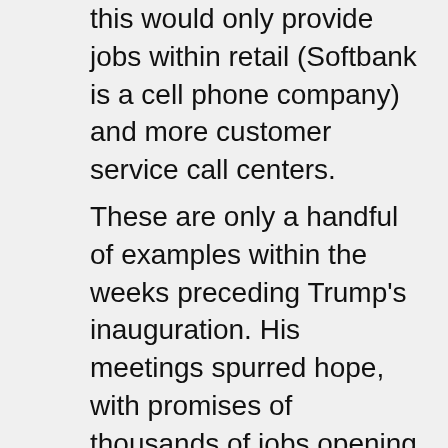this would only provide jobs within retail (Softbank is a cell phone company) and more customer service call centers.
These are only a handful of examples within the weeks preceding Trump's inauguration. His meetings spurred hope, with promises of thousands of jobs opening on U.S. soil, but the promises were empty when considering the industries they occupied.
Retail and customer service positions within massive corporations rarely benefit the worker but always benefit the millionaire owners, often adding to